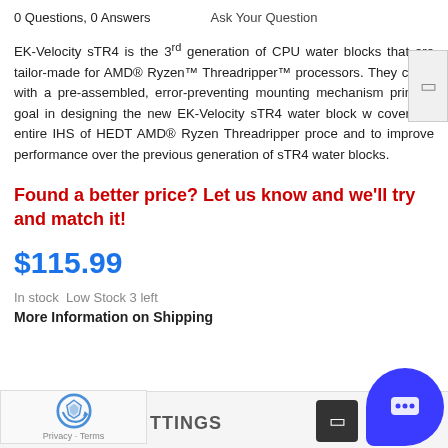0 Questions, 0 Answers    Ask Your Question
EK-Velocity sTR4 is the 3rd generation of CPU water blocks that are tailor-made for AMD® Ryzen™ Threadripper™ processors. They come with a pre-assembled, error-preventing mounting mechanism primary goal in designing the new EK-Velocity sTR4 water block w cover the entire IHS of HEDT AMD® Ryzen Threadripper proce and to improve performance over the previous generation of sTR4 water blocks.
Found a better price? Let us know and we'll try and match it!
$115.99
In stock Low Stock 3 left
More Information on Shipping